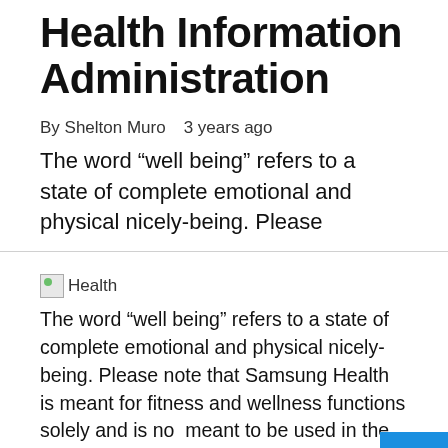Health Information Administration
By Shelton Muro   3 years ago
The word “well being” refers to a state of complete emotional and physical nicely-being. Please
[Figure (photo): Small broken image placeholder labeled Health]
The word “well being” refers to a state of complete emotional and physical nicely-being. Please note that Samsung Health is meant for fitness and wellness functions solely and is not meant to be used in the analysis of disease or different circumstances, or within the cure...